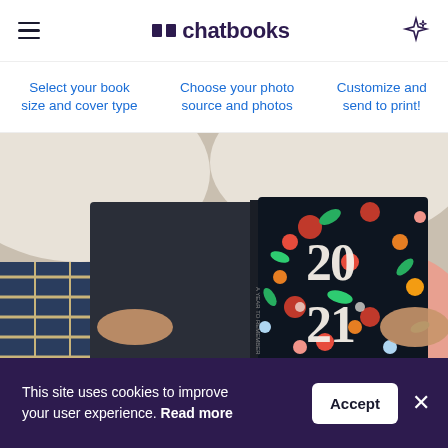chatbooks
Select your book size and cover type
Choose your photo source and photos
Customize and send to print!
[Figure (photo): Person lying down holding open a photo book with floral '2021' cover design]
This site uses cookies to improve your user experience. Read more